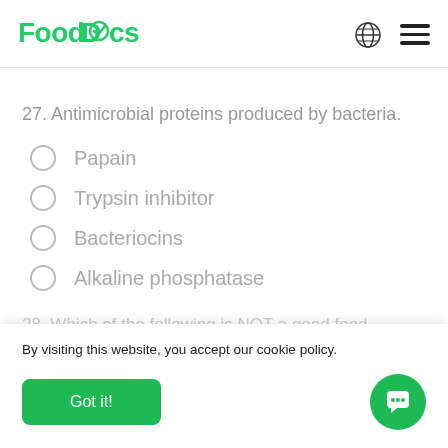FoodDocs
27. Antimicrobial proteins produced by bacteria.
Papain
Trypsin inhibitor
Bacteriocins
Alkaline phosphatase
28. Which of the following is NOT a good food
By visiting this website, you accept our cookie policy.